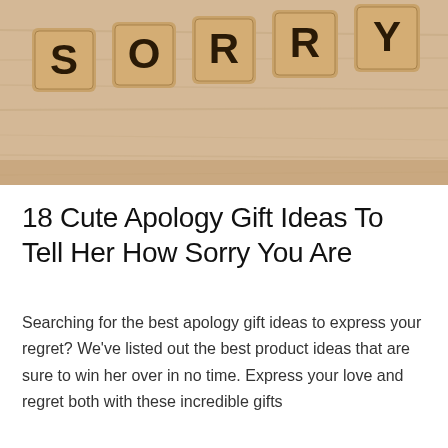[Figure (photo): Close-up photo of wooden letter tiles spelling out SORRY on a rustic wooden surface. The tiles are tan/brown with dark block letters, arranged in a row.]
18 Cute Apology Gift Ideas To Tell Her How Sorry You Are
Searching for the best apology gift ideas to express your regret? We've listed out the best product ideas that are sure to win her over in no time. Express your love and regret both with these incredible gifts